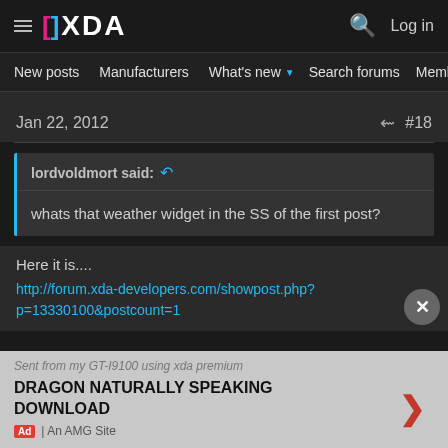XDA — New posts | Manufacturers | What's new | Search forums | Members
Jan 22, 2012   #18
lordvoldmort said: ↺
whats that weather widget in the SS of the first post?
Here it is....
http://forum.xda-developers.com/showpost.php?p=13330100&postcount=1
Sent from my GT-I9100 using xda premium
DRAGON NATURALLY SPEAKING DOWNLOAD
Ad | An AMG Site